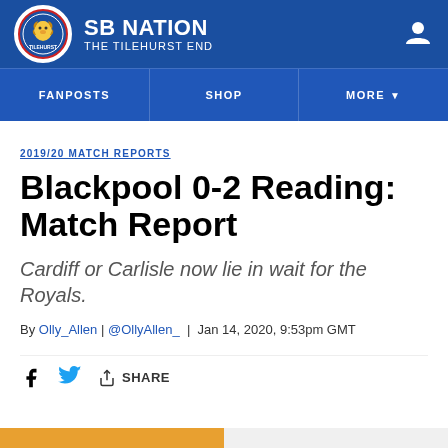SB NATION — THE TILEHURST END
2019/20 MATCH REPORTS
Blackpool 0-2 Reading: Match Report
Cardiff or Carlisle now lie in wait for the Royals.
By Olly_Allen | @OllyAllen_ | Jan 14, 2020, 9:53pm GMT